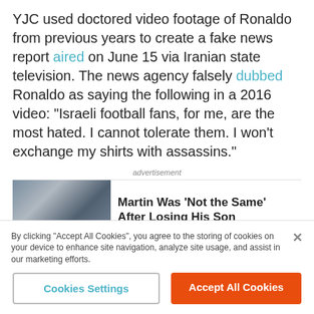YJC used doctored video footage of Ronaldo from previous years to create a fake news report aired on June 15 via Iranian state television. The news agency falsely dubbed Ronaldo as saying the following in a 2016 video: “Israeli football fans, for me, are the most hated. I cannot tolerate them. I won’t exchange my shirts with assassins.”
advertisement
[Figure (photo): Photo of two people, a man in a suit and a woman]
Martin Was ‘Not the Same’ After Losing His Son
[Figure (photo): Photo of a woman with short dark hair]
Photos of Suzanne Pleshette That Went Too Far
By clicking “Accept All Cookies”, you agree to the storing of cookies on your device to enhance site navigation, analyze site usage, and assist in our marketing efforts.